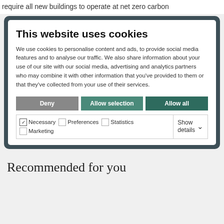require all new buildings to operate at net zero carbon
This website uses cookies
We use cookies to personalise content and ads, to provide social media features and to analyse our traffic. We also share information about your use of our site with our social media, advertising and analytics partners who may combine it with other information that you've provided to them or that they've collected from your use of their services.
Deny | Allow selection | Allow all
Necessary | Preferences | Statistics | Marketing | Show details
Recommended for you